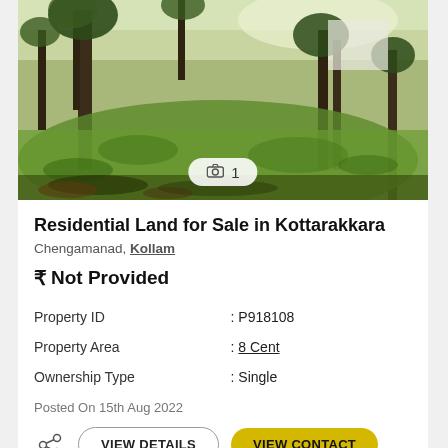[Figure (photo): Outdoor photo of a green grassy land plot with trees, showing a vacant residential land for sale]
Residential Land for Sale in Kottarakkara
Chengamanad, Kollam
₹ Not Provided
| Property ID | : P918108 |
| Property Area | : 8 Cent |
| Ownership Type | : Single |
Posted On 15th Aug 2022
VIEW DETAILS   VIEW CONTACT